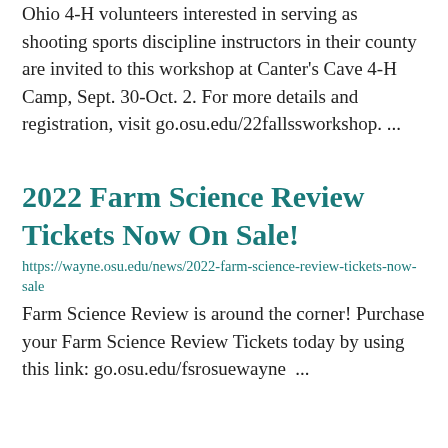Ohio 4-H volunteers interested in serving as shooting sports discipline instructors in their county are invited to this workshop at Canter's Cave 4-H Camp, Sept. 30-Oct. 2. For more details and registration, visit go.osu.edu/22fallssworkshop. ...
2022 Farm Science Review Tickets Now On Sale!
https://wayne.osu.edu/news/2022-farm-science-review-tickets-now-sale
Farm Science Review is around the corner! Purchase your Farm Science Review Tickets today by using this link: go.osu.edu/fsrosuewayne  ...